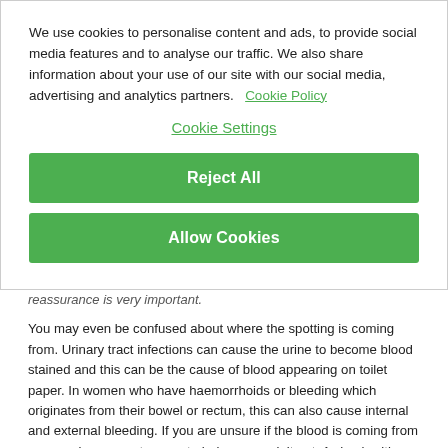We use cookies to personalise content and ads, to provide social media features and to analyse our traffic. We also share information about your use of our site with our social media, advertising and analytics partners.   Cookie Policy
Cookie Settings
Reject All
Allow Cookies
reassurance is very important.
You may even be confused about where the spotting is coming from. Urinary tract infections can cause the urine to become blood stained and this can be the cause of blood appearing on toilet paper. In women who have haemorrhoids or bleeding which originates from their bowel or rectum, this can also cause internal and external bleeding. If you are unsure if the blood is coming from your vagina, use a tampon to help you work it out. A check with your healthcare professional will help you to identify the source of the bleeding.